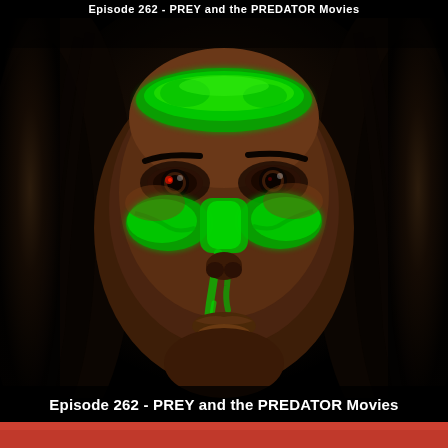Episode 262 - PREY and the PREDATOR Movies
[Figure (photo): Close-up portrait of a young woman with dark skin and dark hair, wearing vivid green face paint across her forehead and across her nose and cheeks in a dramatic warrior style, against a very dark/black background. Her eyes are intense brown with a hint of red reflection. The image is dramatic and cinematic, associated with the movie PREY.]
Episode 262 - PREY and the PREDATOR Movies
[Figure (photo): Partial view of a bottom strip showing a red/orange colored scene, likely another movie still.]